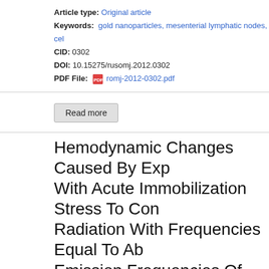Article type: Original article
Keywords: gold nanoparticles, mesenterial lymphatic nodes, cel…
CID: 0302
DOI: 10.15275/rusomj.2012.0302
PDF File: romj-2012-0302.pdf
Read more
Hemodynamic Changes Caused By Exposure With Acute Immobilization Stress To Combined Radiation With Frequencies Equal To Absorption Emission Frequencies Of Nitrogen Oxide And Oxygen
Year & Volume - Issue: 2012. Volume 1 - Issue 3
Authors:
Vyacheslav F. Kirichuk, Vitaly V. Velikanov, Tatyana S. Velikanova, Andronov, Alexey N. Ivanov, Svetlana S. Porshina, Natalia E. Rabi…